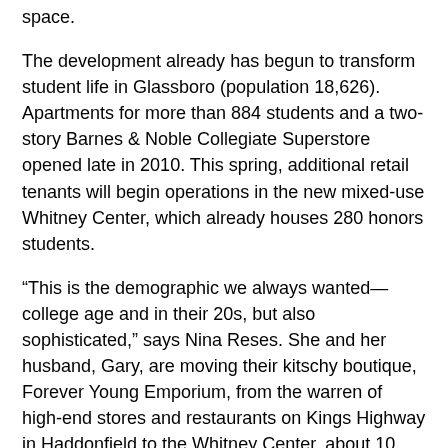space.
The development already has begun to transform student life in Glassboro (population 18,626). Apartments for more than 884 students and a two-story Barnes & Noble Collegiate Superstore opened late in 2010. This spring, additional retail tenants will begin operations in the new mixed-use Whitney Center, which already houses 280 honors students.
“This is the demographic we always wanted—college age and in their 20s, but also sophisticated,” says Nina Reses. She and her husband, Gary, are moving their kitschy boutique, Forever Young Emporium, from the warren of high-end stores and restaurants on Kings Highway in Haddonfield to the Whitney Center, about 10 miles south on I-295.
The first of several eateries, Prime Burger, opened last June in the Whitney Center, followed by Green Zebra, a wrap-and-salad spot that opened in November. A yogurt